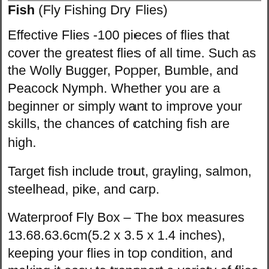Fish (Fly Fishing Dry Flies)
Effective Flies -100 pieces of flies that cover the greatest flies of all time. Such as the Wolly Bugger, Popper, Bumble, and Peacock Nymph. Whether you are a beginner or simply want to improve your skills, the chances of catching fish are high.
Target fish include trout, grayling, salmon, steelhead, pike, and carp.
Waterproof Fly Box – The box measures 13.68.63.6cm(5.2 x 3.5 x 1.4 inches), keeping your flies in top condition, and making it easy to transport a variety of flies for days of fishing.